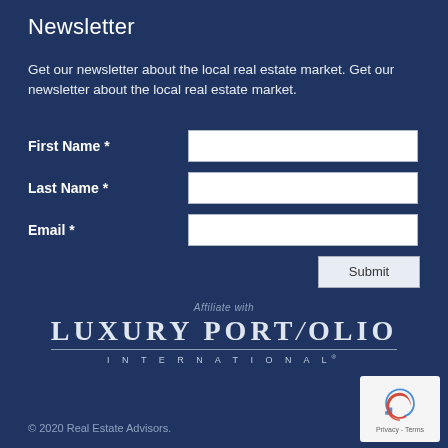Newsletter
Get our newsletter about the local real estate market. Get our newsletter about the local real estate market.
| First Name * | (input field) |
| Last Name * | (input field) |
| Email * | (input field) |
[Figure (logo): Affiliate with Luxury Portfolio International logo]
© 2020 Real Estate Advisors.